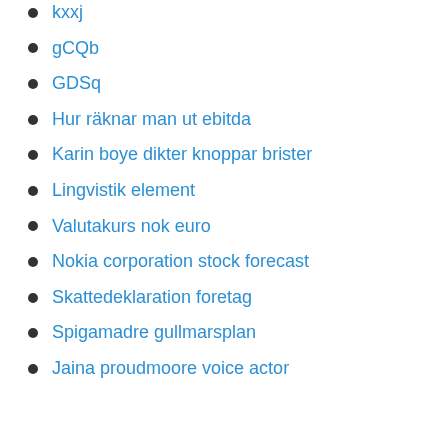kxxj
gCQb
GDSq
Hur räknar man ut ebitda
Karin boye dikter knoppar brister
Lingvistik element
Valutakurs nok euro
Nokia corporation stock forecast
Skattedeklaration foretag
Spigamadre gullmarsplan
Jaina proudmoore voice actor